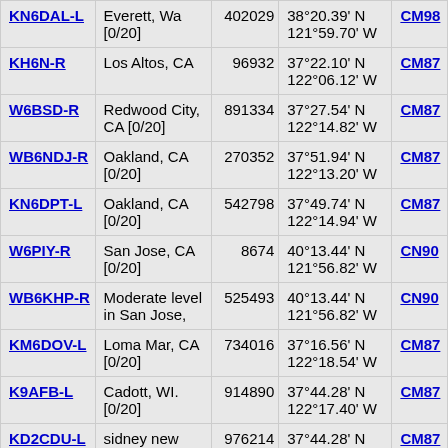| Callsign | Location | ID | Coordinates | Grid |
| --- | --- | --- | --- | --- |
| KN6DAL-L | Everett, Wa [0/20] | 402029 | 38°20.39' N 121°59.70' W | CM98 |
| KH6N-R | Los Altos, CA | 96932 | 37°22.10' N 122°06.12' W | CM87 |
| W6BSD-R | Redwood City, CA [0/20] | 891334 | 37°27.54' N 122°14.82' W | CM87 |
| WB6NDJ-R | Oakland, CA [0/20] | 270352 | 37°51.94' N 122°13.20' W | CM87 |
| KN6DPT-L | Oakland, CA [0/20] | 542798 | 37°49.74' N 122°14.94' W | CM87 |
| W6PIY-R | San Jose, CA [0/20] | 8674 | 40°13.44' N 121°56.82' W | CN90 |
| WB6KHP-R | Moderate level in San Jose, | 525493 | 40°13.44' N 121°56.82' W | CN90 |
| KM6DOV-L | Loma Mar, CA [0/20] | 734016 | 37°16.56' N 122°18.54' W | CM87 |
| K9AFB-L | Cadott, WI. [0/20] | 914890 | 37°44.28' N 122°17.40' W | CM87 |
| KD2CDU-L | sidney new york [0/20] | 976214 | 37°44.28' N 122°17.40' W | CM87 |